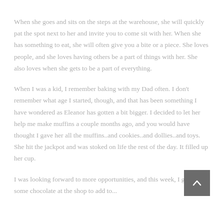When she goes and sits on the steps at the warehouse, she will quickly pat the spot next to her and invite you to come sit with her. When she has something to eat, she will often give you a bite or a piece. She loves people, and she loves having others be a part of things with her. She also loves when she gets to be a part of everything.
When I was a kid, I remember baking with my Dad often. I don't remember what age I started, though, and that has been something I have wondered as Eleanor has gotten a bit bigger. I decided to let her help me make muffins a couple months ago, and you would have thought I gave her all the muffins..and cookies..and dollies..and toys. She hit the jackpot and was stoked on life the rest of the day. It filled up her cup.
I was looking forward to more opportunities, and this week, I grabbed some chocolate at the shop to add to...